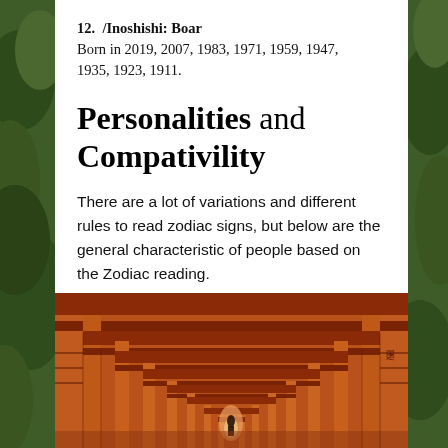12.  /Inoshishi: Boar
Born in 2019, 2007, 1983, 1971, 1959, 1947, 1935, 1923, 1911.
Personalities and Compativility
There are a lot of variations and different rules to read zodiac signs, but below are the general characteristic of people based on the Zodiac reading.
[Figure (photo): Photograph of a long tunnel of red/orange torii gates (Fushimi Inari shrine), viewed from below looking upward through the gates, with a person silhouetted at the far end. Japanese characters visible on the right pillar.]